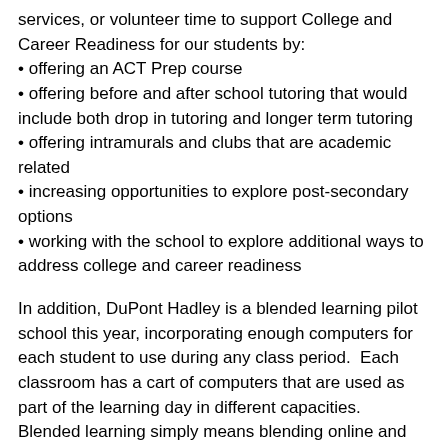services, or volunteer time to support College and Career Readiness for our students by:
• offering an ACT Prep course
• offering before and after school tutoring that would include both drop in tutoring and longer term tutoring
• offering intramurals and clubs that are academic related
• increasing opportunities to explore post-secondary options
• working with the school to explore additional ways to address college and career readiness
In addition, DuPont Hadley is a blended learning pilot school this year, incorporating enough computers for each student to use during any class period.  Each classroom has a cart of computers that are used as part of the learning day in different capacities.  Blended learning simply means blending online and site based learning.  It is not an alternative to traditional schooling, but a way in which public education begins to connect all the assets  – communities, families, youth development organizations, etc. into learning opportunities that transcend physical boundaries.  We are seeking community partners to assist in furthering our goals to create technically savvy students who are college and career ready by having an extended the community learning